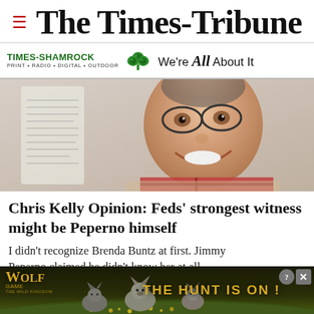The Times-Tribune
[Figure (logo): Times-Shamrock advertisement banner: TIMES-SHAMROCK PRINT · RADIO · DIGITAL · OUTDOOR with shamrock logo and We're All About It tagline]
[Figure (photo): Close-up photo of a smiling middle-aged man with glasses, holding papers, wearing a plaid shirt]
Chris Kelly Opinion: Feds' strongest witness might be Peperno himself
I didn't recognize Brenda Buntz at first. Jimmy Peperno claimed he didn't know her at all.
[Figure (advertisement): Wolf Game: The Wild Kingdom advertisement with wolves in a field and text THE HUNT IS ON!]